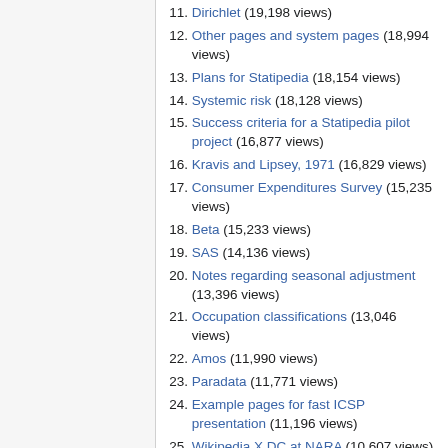11. Dirichlet (19,198 views)
12. Other pages and system pages (18,994 views)
13. Plans for Statipedia (18,154 views)
14. Systemic risk (18,128 views)
15. Success criteria for a Statipedia pilot project (16,877 views)
16. Kravis and Lipsey, 1971 (16,829 views)
17. Consumer Expenditures Survey (15,235 views)
18. Beta (15,233 views)
19. SAS (14,136 views)
20. Notes regarding seasonal adjustment (13,396 views)
21. Occupation classifications (13,046 views)
22. Amos (11,990 views)
23. Paradata (11,771 views)
24. Example pages for fast ICSP presentation (11,196 views)
25. Wikipedia X DC at NARA (10,607 views)
26. NBER Price Statistics Review Committee. 1961. (10,564 views)
27. Glossary of government statistical